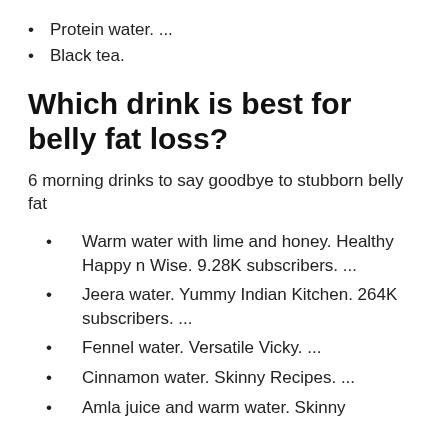Protein water. ...
Black tea.
Which drink is best for belly fat loss?
6 morning drinks to say goodbye to stubborn belly fat
Warm water with lime and honey. Healthy Happy n Wise. 9.28K subscribers. ...
Jeera water. Yummy Indian Kitchen. 264K subscribers. ...
Fennel water. Versatile Vicky. ...
Cinnamon water. Skinny Recipes. ...
Amla juice and warm water. Skinny